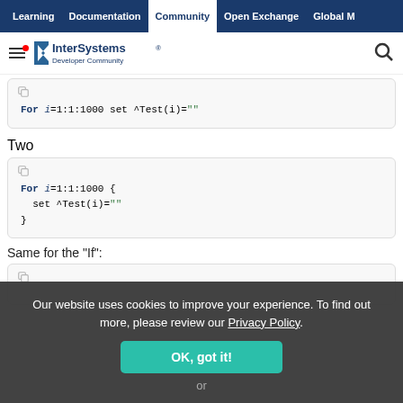Learning | Documentation | Community | Open Exchange | Global M
[Figure (logo): InterSystems Developer Community logo with hamburger menu and search icon]
For i=1:1:1000 set ^Test(i)=""
Two
For i=1:1:1000 {
  set ^Test(i)=""
}
Same for the "If":
Our website uses cookies to improve your experience. To find out more, please review our Privacy Policy.